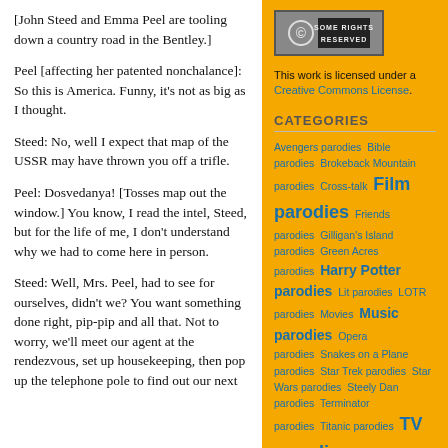[John Steed and Emma Peel are tooling down a country road in the Bentley.]
Peel [affecting her patented nonchalance]: So this is America. Funny, it's not as big as I thought.
Steed: No, well I expect that map of the USSR may have thrown you off a trifle.
Peel: Dosvedanya! [Tosses map out the window.] You know, I read the intel, Steed, but for the life of me, I don't understand why we had to come here in person.
Steed: Well, Mrs. Peel, had to see for ourselves, didn't we? You want something done right, pip-pip and all that. Not to worry, we'll meet our agent at the rendezvous, set up housekeeping, then pop up the telephone pole to find out our next
[Figure (logo): Creative Commons Some Rights Reserved badge with CC icon]
This work is licensed under a Creative Commons License.
CATEGORIES
Avengers parodies  Bible parodies  Brokeback Mountain parodies  Cross-talk  Film parodies  Friends parodies  Gilligan's Island parodies  Green Acres parodies  Harry Potter parodies  Lit parodies  LOTR parodies  Movies  Music parodies  Opera parodies  Snakes on a Plane parodies  Star Trek parodies  Star Wars parodies  Steely Dan parodies  Terminator parodies  Titanic parodies  TV parodies  Web parodies  Woody Allen  X-Files parodies
NEWS & REVIEWS